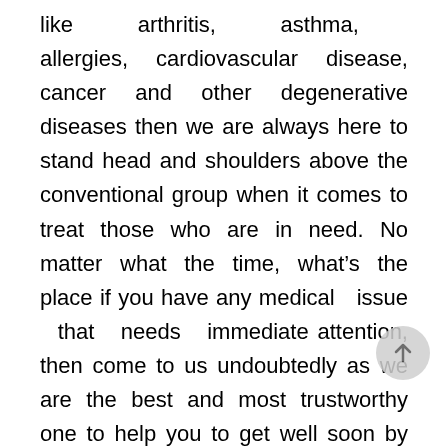like arthritis, asthma, allergies, cardiovascular disease, cancer and other degenerative diseases then we are always here to stand head and shoulders above the conventional group when it comes to treat those who are in need. No matter what the time, what's the place if you have any medical issue that needs immediate attention, then come to us undoubtedly as we are the best and most trustworthy one to help you to get well soon by our best medical service at cost effective price. Don't need to look further any more as we are here. Many times doctors have too various patients and their appointments are booked solid.
What are you waiting for come to us as